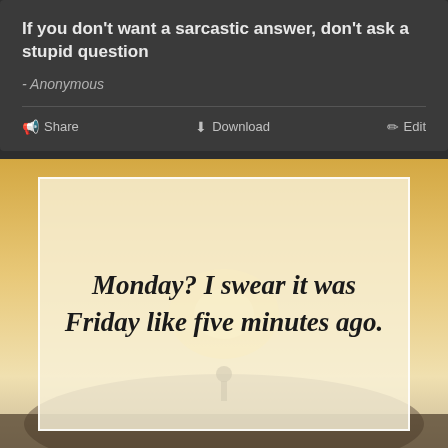If you don't want a sarcastic answer, don't ask a stupid question
- Anonymous
Share   Download   Edit
[Figure (illustration): A motivational/humorous quote image with a sun and mountain landscape background. White-bordered frame on a warm beige/cream background with bold italic serif text reading: Monday? I swear it was Friday like five minutes ago.]